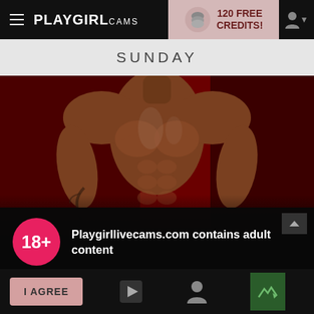PLAYGIRL CAMS — 120 FREE CREDITS!
SUNDAY
[Figure (photo): Cropped torso of a muscular male model against a dark red background]
Playgirllivecams.com contains adult content
By using the site, you acknowledge you have read our Privacy Policy, and agree to our Terms and Conditions.
We use cookies to optimize your experience, analyze traffic, and deliver more personalized service. To learn more, please see our Privacy Policy.